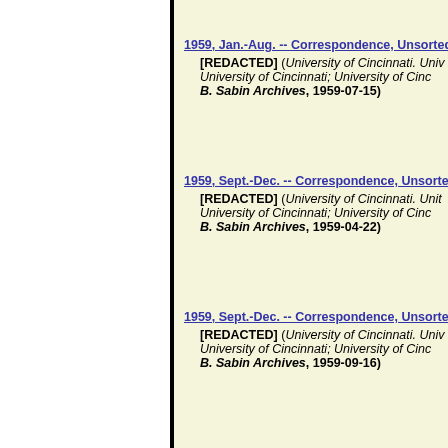1959, Jan.-Aug. -- Correspondence, Unsorted
[REDACTED] (University of Cincinnati. University of Cincinnati; University of Cincinnati. B. Sabin Archives, 1959-07-15)
1959, Sept.-Dec. -- Correspondence, Unsorted
[REDACTED] (University of Cincinnati. University of Cincinnati; University of Cincinnati. B. Sabin Archives, 1959-04-22)
1959, Sept.-Dec. -- Correspondence, Unsorted
[REDACTED] (University of Cincinnati. University of Cincinnati; University of Cincinnati. B. Sabin Archives, 1959-09-16)
1959, Sept.-Dec. -- Correspondence, Unsorted
[REDACTED] (University of Cincinnati. University of Cincinnati; University of Cincinnati. B. Sabin Archives, 1959-09-23)